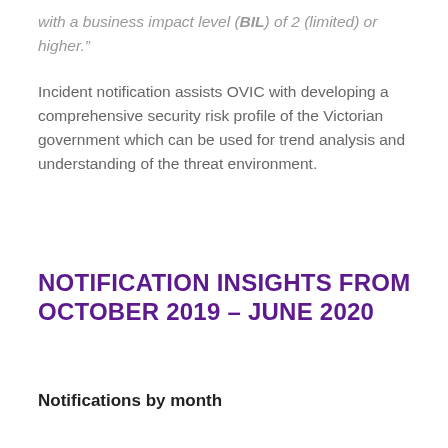with a business impact level (BIL) of 2 (limited) or higher.”
Incident notification assists OVIC with developing a comprehensive security risk profile of the Victorian government which can be used for trend analysis and understanding of the threat environment.
NOTIFICATION INSIGHTS FROM OCTOBER 2019 – JUNE 2020
Notifications by month